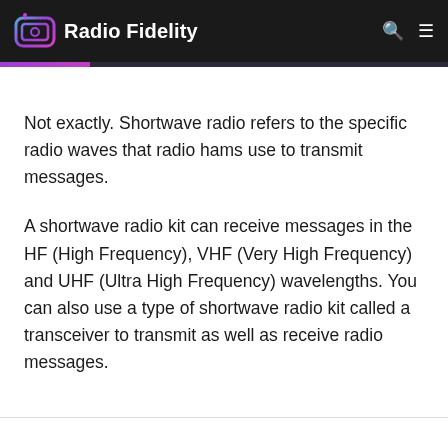Radio Fidelity
Not exactly. Shortwave radio refers to the specific radio waves that radio hams use to transmit messages.
A shortwave radio kit can receive messages in the HF (High Frequency), VHF (Very High Frequency) and UHF (Ultra High Frequency) wavelengths. You can also use a type of shortwave radio kit called a transceiver to transmit as well as receive radio messages.